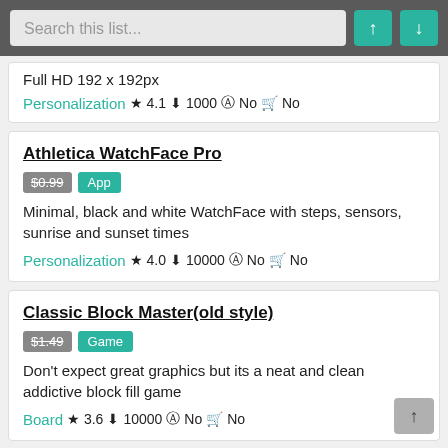Search this list...
Full HD 192 x 192px
Personalization ★ 4.1 ⬇ 1000 ⓐ No 🛒 No
Athletica WatchFace Pro
$0.99  App
Minimal, black and white WatchFace with steps, sensors, sunrise and sunset times
Personalization ★ 4.0 ⬇ 10000 ⓐ No 🛒 No
Classic Block Master(old style)
$1.49  Game
Don't expect great graphics but its a neat and clean addictive block fill game
Board ★ 3.6 ⬇ 10000 ⓐ No 🛒 No
NAZG III